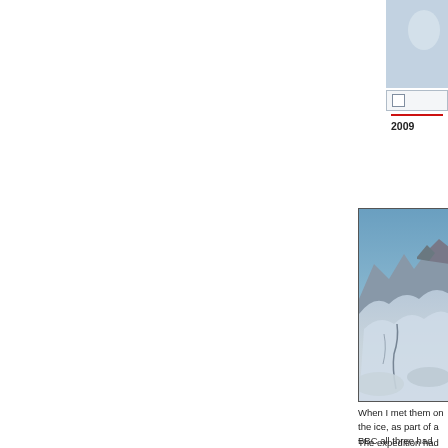[Figure (photo): Partial view of a person or figure photo in top-right corner, cropped]
[Figure (other): UI element: checkbox and red line with year label 2009]
[Figure (photo): Aerial photograph of a snow-covered mountain glacier landscape with rocky peaks against a blue sky]
When I met them on the ice, as part of a BBC all three had lost weight and were evidently tir
The expedition had been blighted by equipme system, designed to measure the ice while be down within days. Another device to measure functioned at all.